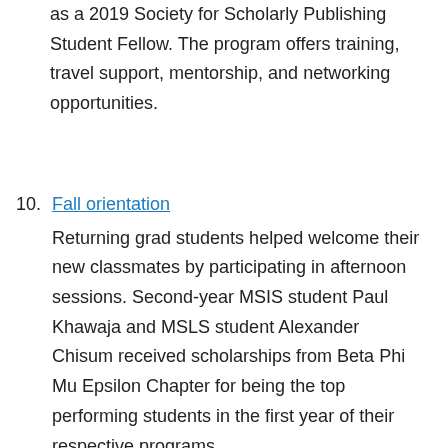as a 2019 Society for Scholarly Publishing Student Fellow. The program offers training, travel support, mentorship, and networking opportunities.
Fall orientation
Returning grad students helped welcome their new classmates by participating in afternoon sessions. Second-year MSIS student Paul Khawaja and MSLS student Alexander Chisum received scholarships from Beta Phi Mu Epsilon Chapter for being the top performing students in the first year of their respective programs.